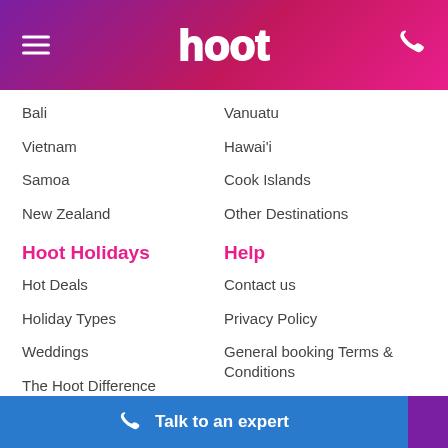hoot
Bali
Vanuatu
Vietnam
Hawai'i
Samoa
Cook Islands
New Zealand
Other Destinations
Hoot Holidays
Help
Hot Deals
Contact us
Holiday Types
Privacy Policy
Weddings
General booking Terms & Conditions
The Hoot Difference
Travel Tools
Hoot Blog
Accreditations
Talk to an expert